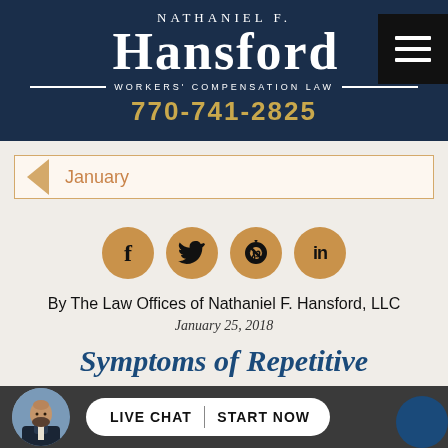[Figure (logo): Nathaniel F. Hansford Workers' Compensation Law logo with dark navy background, white serif text, gold phone number 770-741-2825, and hamburger menu icon]
[Figure (infographic): Navigation back arrow bar with 'January' text in orange on light beige background with orange border]
[Figure (infographic): Social media sharing icons row: Facebook, Twitter, Pinterest, LinkedIn - gold/tan circles with black icons]
By The Law Offices of Nathaniel F. Hansford, LLC
January 25, 2018
Symptoms of Repetitive
[Figure (infographic): Bottom dark gray bar with circular avatar photo of bearded man in suit and Live Chat / Start Now button in white pill shape, blue circle on right]